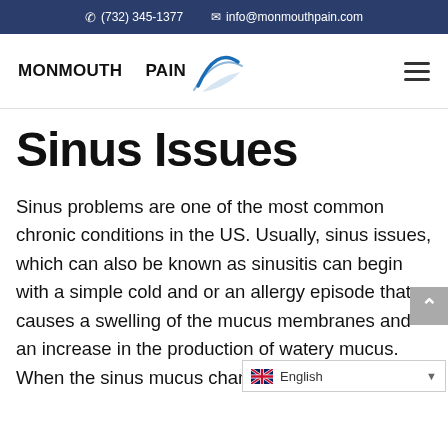(732) 345-1377   info@monmouthpain.com
[Figure (logo): Monmouth Pain logo with wave graphic and hamburger menu icon]
Sinus Issues
Sinus problems are one of the most common chronic conditions in the US. Usually, sinus issues, which can also be known as sinusitis can begin with a simple cold and or an allergy episode that causes a swelling of the mucus membranes and an increase in the production of watery mucus. When the sinus mucus changes t